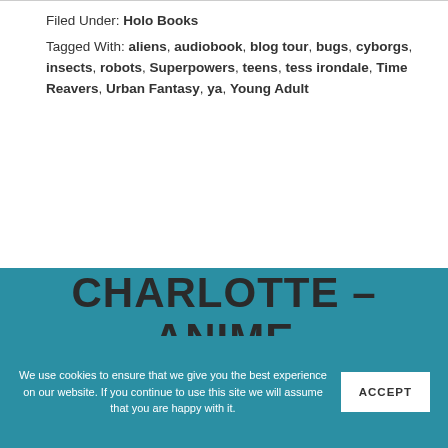Filed Under: Holo Books
Tagged With: aliens, audiobook, blog tour, bugs, cyborgs, insects, robots, Superpowers, teens, tess irondale, Time Reavers, Urban Fantasy, ya, Young Adult
CHARLOTTE – ANIME REVIEW
We use cookies to ensure that we give you the best experience on our website. If you continue to use this site we will assume that you are happy with it.